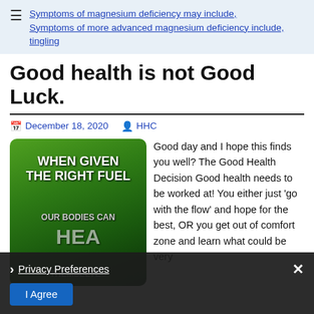Symptoms of magnesium deficiency may include, Symptoms of more advanced magnesium deficiency include, tingling
Good health is not Good Luck.
December 18, 2020   HHC
[Figure (photo): Green image with text overlaid: WHEN GIVEN THE RIGHT FUEL OUR BODIES CAN HEAL THEMSELVES]
Good day and I hope this finds you well? The Good Health Decision Good health needs to be worked at! You either just 'go with the flow' and hope for the best, OR you get out of comfort zone and learn what could be very
Privacy Preferences   I Agree